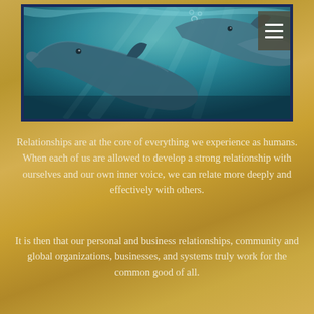[Figure (photo): Underwater photograph of dolphins swimming in teal-blue water with light rays filtering through]
Relationships are at the core of everything we experience as humans. When each of us are allowed to develop a strong relationship with ourselves and our own inner voice, we can relate more deeply and effectively with others.
It is then that our personal and business relationships, community and global organizations, businesses, and systems truly work for the common good of all.